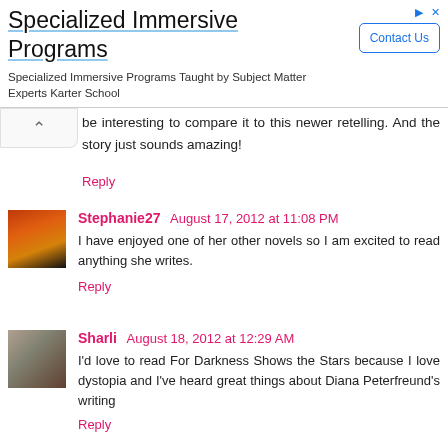[Figure (screenshot): Advertisement banner for Specialized Immersive Programs with Contact Us button]
be interesting to compare it to this newer retelling. And the story just sounds amazing!
Reply
Stephanie27  August 17, 2012 at 11:08 PM
I have enjoyed one of her other novels so I am excited to read anything she writes.
Reply
Sharli  August 18, 2012 at 12:29 AM
I'd love to read For Darkness Shows the Stars because I love dystopia and I've heard great things about Diana Peterfreund's writing
Reply